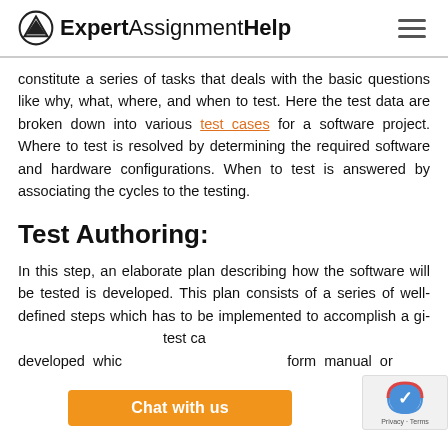ExpertAssignmentHelp
constitute a series of tasks that deals with the basic questions like why, what, where, and when to test. Here the test data are broken down into various test cases for a software project. Where to test is resolved by determining the required software and hardware configurations. When to test is answered by associating the cycles to the testing.
Test Authoring:
In this step, an elaborate plan describing how the software will be tested is developed. This plan consists of a series of well-defined steps which has to be implemented to accomplish a given test case developed which form manual or